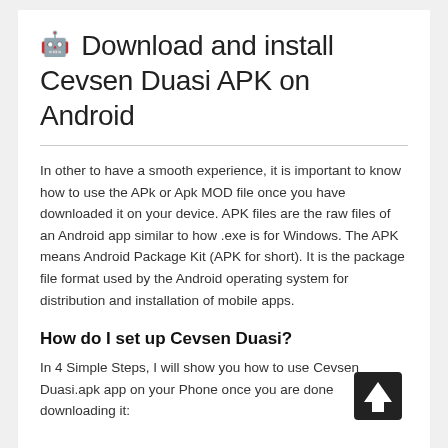🤖 Download and install Cevsen Duasi APK on Android
In other to have a smooth experience, it is important to know how to use the APk or Apk MOD file once you have downloaded it on your device. APK files are the raw files of an Android app similar to how .exe is for Windows. The APK means Android Package Kit (APK for short). It is the package file format used by the Android operating system for distribution and installation of mobile apps.
How do I set up Cevsen Duasi?
In 4 Simple Steps, I will show you how to use Cevsen Duasi.apk app on your Phone once you are done downloading it: